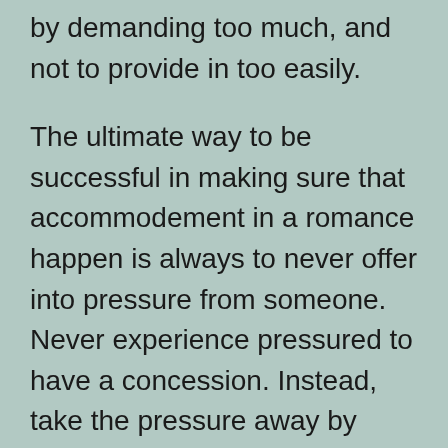by demanding too much, and not to provide in too easily.
The ultimate way to be successful in making sure that accommodement in a romance happen is always to never offer into pressure from someone. Never experience pressured to have a concession. Instead, take the pressure away by being understated about ukraine marriage agency it and letting them speculate what you are do. Allow them to make their own decisions after which find out what those choices happen to be. This is how romantic